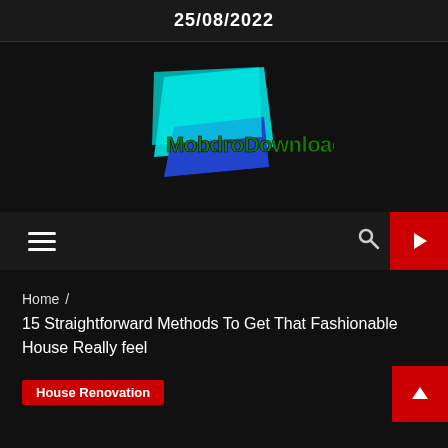25/08/2022
[Figure (logo): MobdroDownloads logo with cyan/blue tilted rectangle shapes and green bold text 'MobdroDownloads']
Home / 15 Straightforward Methods To Get That Fashionable House Really feel
House Renovation